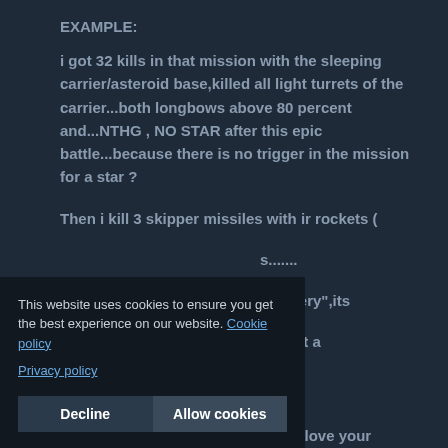EXAMPLE:
i got 32 kills in that mission with the sleeping carrier/asteroid base,killed all light turrets of the carrier...both longbows above 80 percent and...NTHG , NO STAR after this epic battle...because there is no trigger in the mission for a star ?
Then i kill 3 skipper missiles with ir rockets (
s.......
"bravery",its
es that paint a
This website uses cookies to ensure you get the best experience on our website. Cookie policy
Privacy policy
Decline
Allow cookies
SORRY if that sounds too harsh, i love your